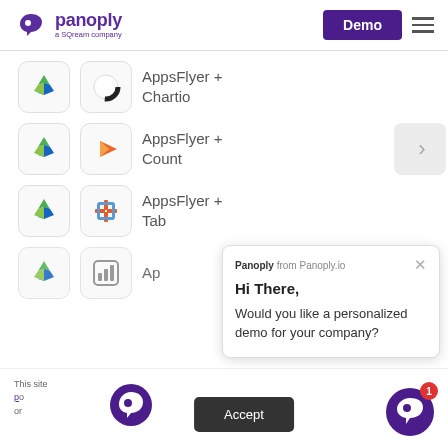[Figure (logo): Panoply logo - a SQream company, purple bird icon with text]
Demo
AppsFlyer + Chartio
AppsFlyer + Count
AppsFlyer + Tab[leau]
Ap[psFlyer + ...]
Panoply from Panoply.io
Hi There,
Would you like a personalized demo for your company?
This site [uses cookies...] p[...]o [...]or
Accept